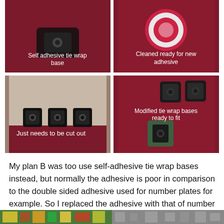[Figure (photo): Self adhesive tie wrap base on red background]
[Figure (photo): Cleaned surface ready for new adhesive, showing circular mount on red background]
[Figure (photo): Three tie wrap bases lined up on cardboard, just needs to be cut out]
[Figure (photo): Modified tie wrap bases ready to fit, shown on red background]
My plan B was too use self-adhesive tie wrap bases instead, but normally the adhesive is poor in comparison to the double sided adhesive used for number plates for example. So I replaced the adhesive with that of number plate strength.
<
[Figure (photo): Partial photo strip at bottom of page]